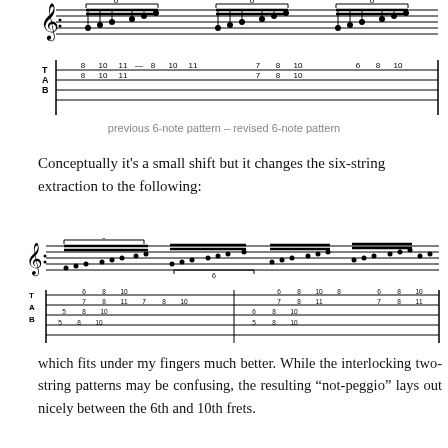[Figure (illustration): Guitar tablature (TAB) notation showing a six-string pattern with fret numbers: top line shows 8-10-11 and 8-10-11 pattern, middle line shows 7-8-10 and 6-8-10, with T A B labels on the left. Bracket markers indicate 6-note groupings.]
previous 6-note pattern – revised 6-note pattern
Conceptually it's a small shift but it changes the six-string extraction to the following:
[Figure (illustration): Guitar tablature (TAB) notation showing the revised six-string extraction pattern across multiple measures, with notes and fret numbers across all six strings (T A B), fret numbers ranging from 5 to 11, with 6-note grouping brackets.]
which fits under my fingers much better. While the interlocking two-string patterns may be confusing, the resulting “not-peggio” lays out nicely between the 6th and 10th frets.